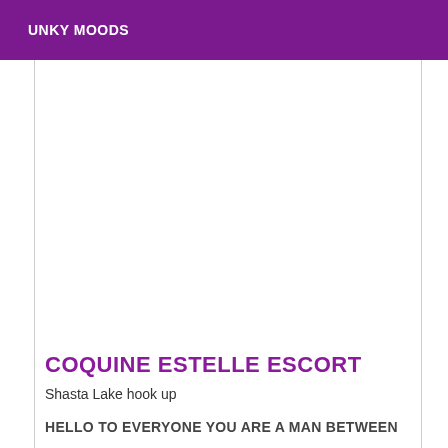UNKY MOODS
COQUINE ESTELLE ESCORT
Shasta Lake hook up
HELLO TO EVERYONE YOU ARE A MAN BETWEEN